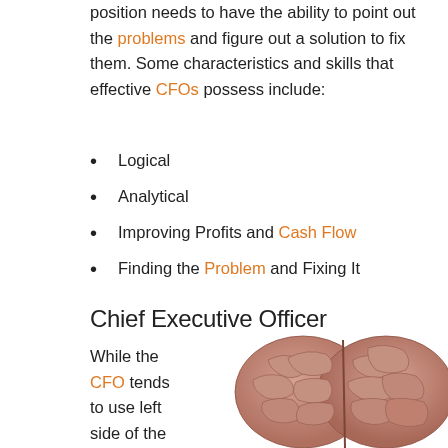position needs to have the ability to point out the problems and figure out a solution to fix them. Some characteristics and skills that effective CFOs possess include:
Logical
Analytical
Improving Profits and Cash Flow
Finding the Problem and Fixing It
Chief Executive Officer
While the CFO tends to use left side of the brain, the
[Figure (illustration): Top-down anatomical illustration of a human brain showing left and right hemispheres with detailed gyri and sulci, in pinkish-brown tones.]